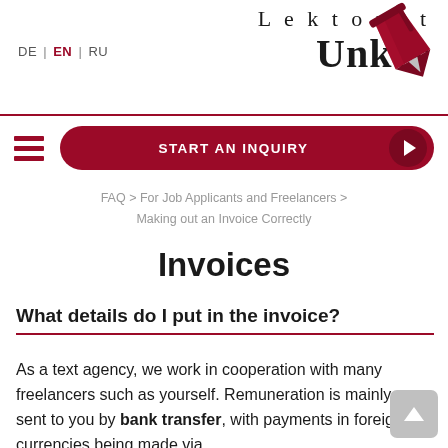Lektorat Unker — DE | EN | RU
[Figure (logo): Lektorat Unker logo with red fountain pen icon]
[Figure (infographic): START AN INQUIRY button with hamburger menu icon]
FAQ > For Job Applicants and Freelancers > Making out an Invoice Correctly
Invoices
What details do I put in the invoice?
As a text agency, we work in cooperation with many freelancers such as yourself. Remuneration is mainly sent to you by bank transfer, with payments in foreign currencies being made via